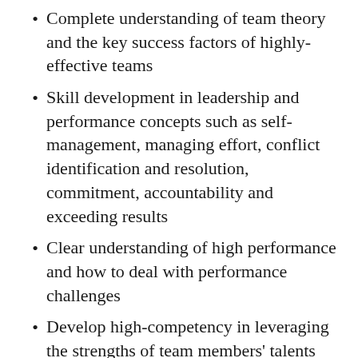Complete understanding of team theory and the key success factors of highly-effective teams
Skill development in leadership and performance concepts such as self-management, managing effort, conflict identification and resolution, commitment, accountability and exceeding results
Clear understanding of high performance and how to deal with performance challenges
Develop high-competency in leveraging the strengths of team members' talents and experience
Maximize resource tools including; personality